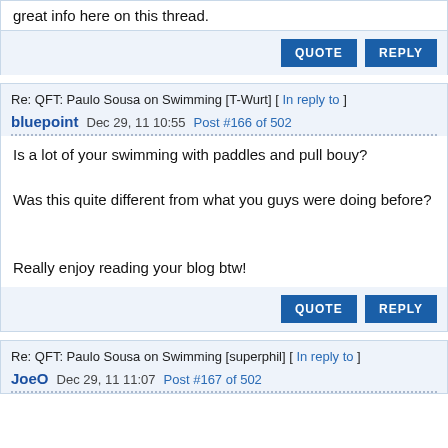great info here on this thread.
QUOTE   REPLY
Re: QFT: Paulo Sousa on Swimming [T-Wurt] [ In reply to ]
bluepoint  Dec 29, 11 10:55  Post #166 of 502
Is a lot of your swimming with paddles and pull bouy?

Was this quite different from what you guys were doing before?

Really enjoy reading your blog btw!
QUOTE   REPLY
Re: QFT: Paulo Sousa on Swimming [superphil] [ In reply to ]
JoeO  Dec 29, 11 11:07  Post #167 of 502